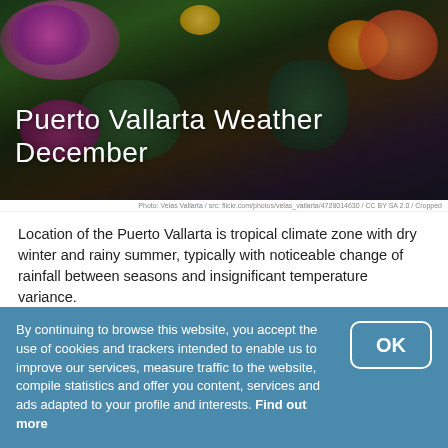[Figure (photo): Night/evening photo of Puerto Vallarta resort with tropical plants, colorful flowers (pink/purple bougainvillea), palm trees, and warm artificial lighting in greens, oranges, and purples.]
Puerto Vallarta Weather December
Photo: Velas Vallarta / src: flickr.com/photos/velas_vallarta/4728014630 / CC BY SA 2.0 / Cropped
Location of the Puerto Vallarta is tropical climate zone with dry winter and rainy summer, typically with noticeable change of rainfall between seasons and insignificant temperature variance.
To help you choose the best time to travel, you can find climate data below on the weather in Puerto Vallarta in December.
average daily high   +29.9°C
By continuing to browse this website, you accept the use of cookies and trackers intended to enable us to improve our services, measure traffic to the website, compile statistics and offer you content, services and ads adapted to your profile and interests. Find out more